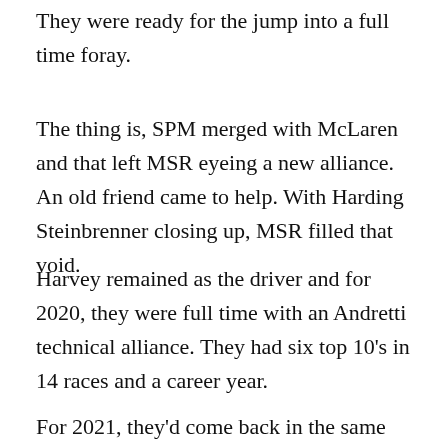They were ready for the jump into a full time foray.
The thing is, SPM merged with McLaren and that left MSR eyeing a new alliance. An old friend came to help. With Harding Steinbrenner closing up, MSR filled that void.
Harvey remained as the driver and for 2020, they were full time with an Andretti technical alliance. They had six top 10's in 14 races and a career year.
For 2021, they'd come back in the same form. But,